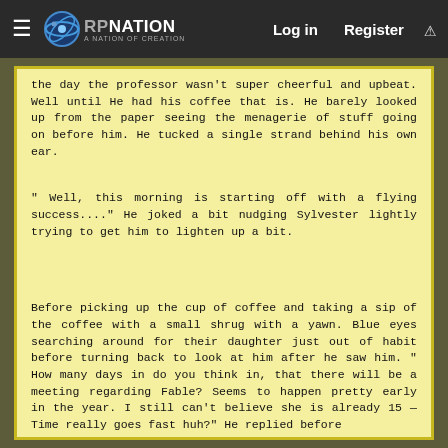RP NATION | Log in | Register
the day the professor wasn't super cheerful and upbeat. Well until He had his coffee that is. He barely looked up from the paper seeing the menagerie of stuff going on before him. He tucked a single strand behind his own ear.
" Well, this morning is starting off with a flying success...." He joked a bit nudging Sylvester lightly trying to get him to lighten up a bit.
Before picking up the cup of coffee and taking a sip of the coffee with a small shrug with a yawn. Blue eyes searching around for their daughter just out of habit before turning back to look at him after he saw him. " How many days in do you think in, that there will be a meeting regarding Fable? Seems to happen pretty early in the year. I still can't believe she is already 15 — Time really goes fast huh?" He replied before